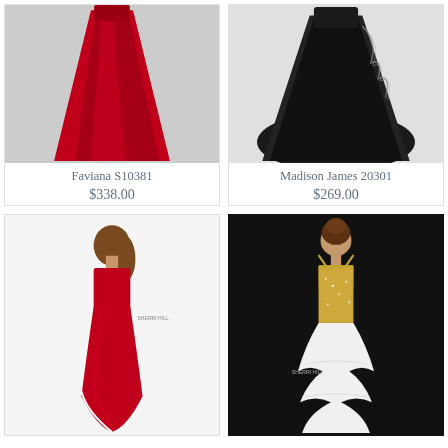[Figure (photo): Red satin ball gown dress (Faviana S10381) on a light gray background, showing the skirt and flowing fabric]
Faviana S10381
$338.00
[Figure (photo): Black ball gown with floral lace applique (Madison James 20301) on a light background]
Madison James 20301
$269.00
[Figure (photo): Woman wearing a red strapless mermaid satin gown with a slit, Sherri Hill brand, on white background]
[Figure (photo): Woman wearing a gold and white mermaid gown with ruffled skirt, Sherri Hill brand, on black background]